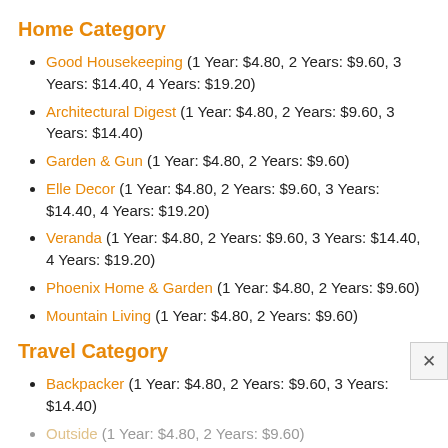Home Category
Good Housekeeping (1 Year: $4.80, 2 Years: $9.60, 3 Years: $14.40, 4 Years: $19.20)
Architectural Digest (1 Year: $4.80, 2 Years: $9.60, 3 Years: $14.40)
Garden & Gun (1 Year: $4.80, 2 Years: $9.60)
Elle Decor (1 Year: $4.80, 2 Years: $9.60, 3 Years: $14.40, 4 Years: $19.20)
Veranda (1 Year: $4.80, 2 Years: $9.60, 3 Years: $14.40, 4 Years: $19.20)
Phoenix Home & Garden (1 Year: $4.80, 2 Years: $9.60)
Mountain Living (1 Year: $4.80, 2 Years: $9.60)
Travel Category
Backpacker (1 Year: $4.80, 2 Years: $9.60, 3 Years: $14.40)
Outside (1 Year: $4.80, 2 Years: $9.60)
Conde Nast Traveler (1 Year: $4.80, 2 Years: $9.60, 3 Years: ...